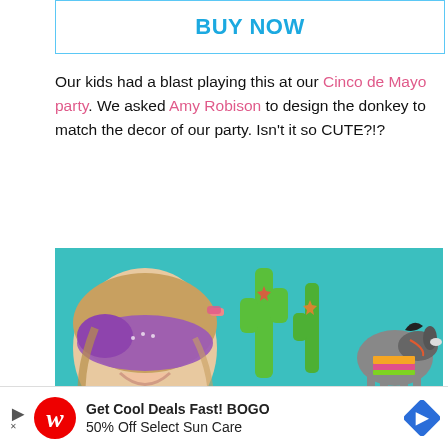[Figure (other): BUY NOW button with light blue border]
Our kids had a blast playing this at our Cinco de Mayo party. We asked Amy Robison to design the donkey to match the decor of our party. Isn't it so CUTE?!?
[Figure (photo): Photo of a girl blindfolded with a purple bandana, smiling, holding a donkey cutout for pin the tail game, with colorful cactus background]
[Figure (other): Walgreens advertisement: Get Cool Deals Fast! BOGO 50% Off Select Sun Care]